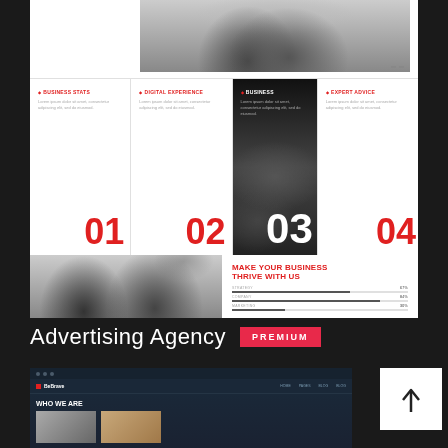[Figure (screenshot): Website template screenshot showing advertising agency theme with photo strips, 4-column numbered sections, progress bars, and 'Make Your Business Thrive With Us' headline]
Advertising Agency
PREMIUM
[Figure (screenshot): Dark themed website screenshot showing navigation bar with logo, nav links, and content section]